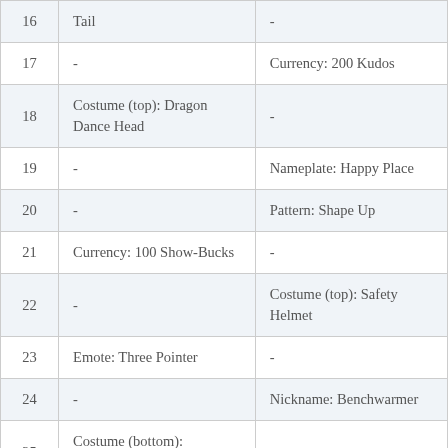| # | Column 2 | Column 3 |
| --- | --- | --- |
| 16 | Tail | - |
| 17 | - | Currency: 200 Kudos |
| 18 | Costume (top): Dragon Dance Head | - |
| 19 | - | Nameplate: Happy Place |
| 20 | - | Pattern: Shape Up |
| 21 | Currency: 100 Show-Bucks | - |
| 22 | - | Costume (top): Safety Helmet |
| 23 | Emote: Three Pointer | - |
| 24 | - | Nickname: Benchwarmer |
| 25 | Costume (bottom): Chiselled Bust | - |
|  |  |  |